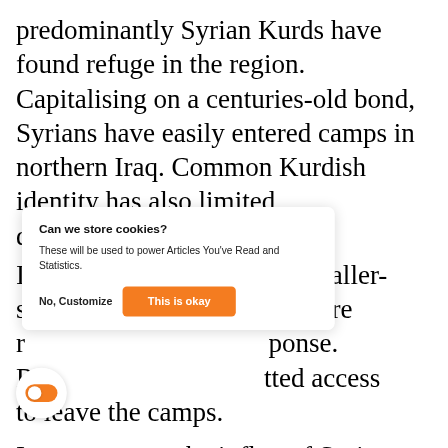predominantly Syrian Kurds have found refuge in the region. Capitalising on a centuries-old bond, Syrians have easily entered camps in northern Iraq. Common Kurdish identity has also limited discrimination among host r
[Figure (screenshot): Cookie consent dialog overlay with title 'Can we store cookies?', body text 'These will be used to power Articles You've Read and Statistics.', and two buttons: 'No, Customize' and 'This is okay' (orange). Also shows a toggle widget (orange, on state) at bottom left.]
I [obscured] s smaller- s more r [obscured] ponse. R [obscured] tted access to leave the camps.
In some ways, the influx of Syrians has supported northern Iraq's rapid